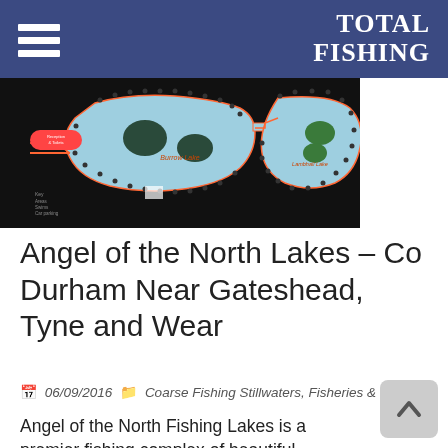TOTAL FISHING
[Figure (map): A fishing lake map showing multiple lakes including Burrow Lake and Lambhall Lake, with reception and toilets marked, roads, and pegs indicated by dots around the lake perimeters. Dark background with light blue lake areas and orange/red outline paths.]
Angel of the North Lakes – Co Durham Near Gateshead, Tyne and Wear
06/09/2016  Coarse Fishing Stillwaters, Fisheries & Venues
Angel of the North Fishing Lakes is a premier fishing complex of beautiful